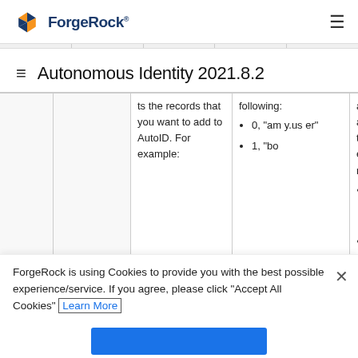ForgeRock
Autonomous Identity 2021.8.2
|  |  | following: | are added to the existing records: |  |
| --- | --- | --- | --- | --- |
|  | ts the records that you want to add to AutoID. For example: | 0, "amy.user"
1, "bo | 0, "amy.user"
1, |  |
ForgeRock is using Cookies to provide you with the best possible experience/service. If you agree, please click "Accept All Cookies" Learn More